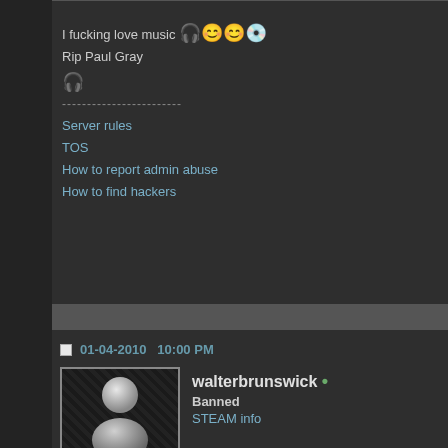I fucking love music 🎧😊😊💿
Rip Paul Gray
🎧
------------------------
Server rules
TOS
How to report admin abuse
How to find hackers
01-04-2010   10:00 PM
[Figure (illustration): Default no-avatar profile picture with diagonal stripe background and NO-AVATAR label at bottom]
walterbrunswick •
Banned
STEAM info
Pub#1 Rank: 0